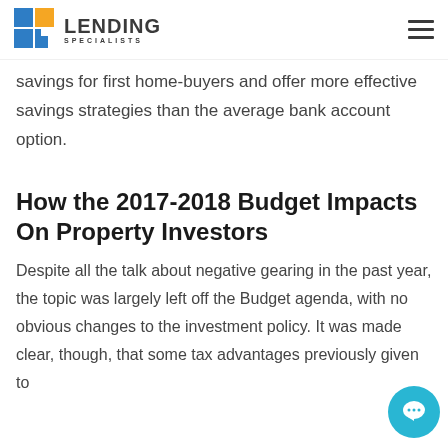Lending Specialists
savings for first home-buyers and offer more effective savings strategies than the average bank account option.
How the 2017-2018 Budget Impacts On Property Investors
Despite all the talk about negative gearing in the past year, the topic was largely left off the Budget agenda, with no obvious changes to the investment policy. It was made clear, though, that some tax advantages previously given to